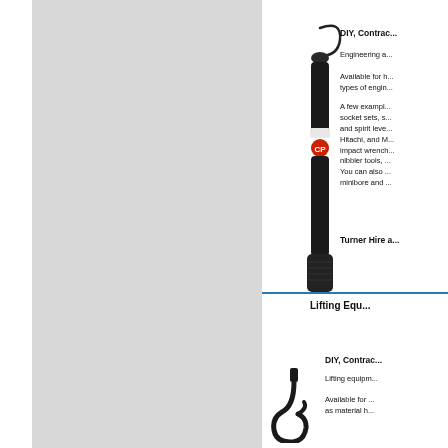[Figure (photo): A pneumatic chisel or clay spade tool (black handheld power tool) with a hook-shaped attachment at the top and a Chicago Pneumatic logo/badge visible]
DIY, Contrac...
Engineering a...
Available for h... types of engin...
A few exampl... socket sets, s... and spirit leve... Hitachi, and M... impact wrench... nibbler tools, ... You can also ... minibore and ...
Turner Hire a...
Lifting Equi...
DIY, Contrac...
Lifting equipm...
Available for ... as material h...
[Figure (photo): A lifting hook/crane hook, black metal, hanging from a chain or rope]